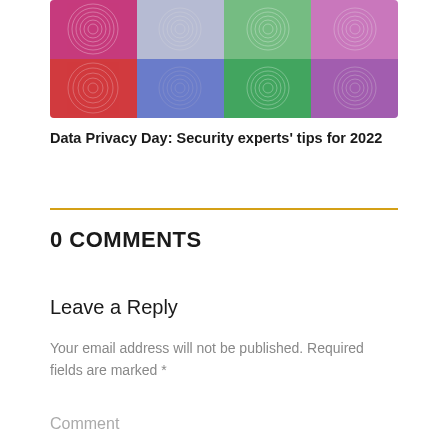[Figure (photo): Colorful spiral fingerprint patterns in multiple colors — magenta, red, green, blue, purple — displayed in a mosaic grid]
Data Privacy Day: Security experts' tips for 2022
0 COMMENTS
Leave a Reply
Your email address will not be published. Required fields are marked *
Comment